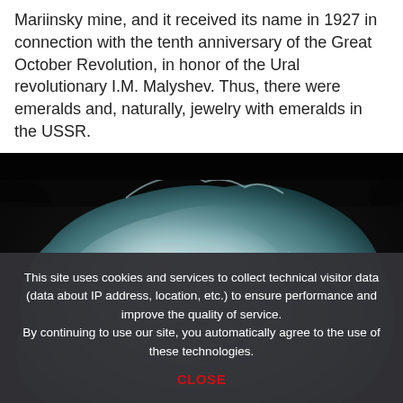Mariinsky mine, and it received its name in 1927 in connection with the tenth anniversary of the Great October Revolution, in honor of the Ural revolutionary I.M. Malyshev. Thus, there were emeralds and, naturally, jewelry with emeralds in the USSR.
[Figure (photo): Photograph of a rough, translucent pale blue-green gemstone (likely an emerald or aquamarine crystal) against a dark background.]
This site uses cookies and services to collect technical visitor data (data about IP address, location, etc.) to ensure performance and improve the quality of service. By continuing to use our site, you automatically agree to the use of these technologies.
CLOSE